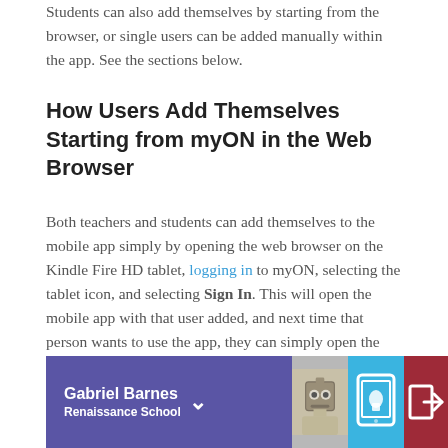Students can also add themselves by starting from the browser, or single users can be added manually within the app. See the sections below.
How Users Add Themselves Starting from myON in the Web Browser
Both teachers and students can add themselves to the mobile app simply by opening the web browser on the Kindle Fire HD tablet, logging in to myON, selecting the tablet icon, and selecting Sign In. This will open the mobile app with that user added, and next time that person wants to use the app, they can simply open the app and select their name from the list of users to begin.
[Figure (screenshot): A mobile app user interface bar showing a user profile for Gabriel Barnes at Renaissance School with a dropdown chevron, an avatar image, a blue tablet icon button, and a red exit button.]